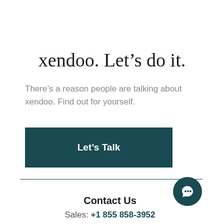xendoo. Let's do it.
There's a reason people are talking about xendoo. Find out for yourself.
[Figure (other): Dark teal button with white bold text reading 'Let's Talk']
Contact Us
Sales: +1 855 858-3952
[Figure (other): Dark teal circular chat bubble icon in bottom right corner]